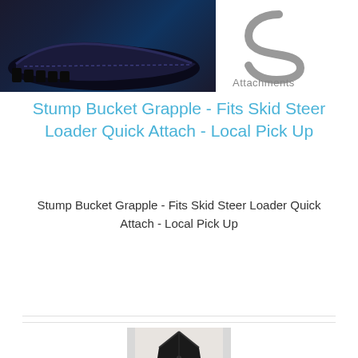[Figure (photo): Product photo of a dark-colored shoe/skid steer attachment on dark background, with a logo showing stylized 'S' shape and text 'Attachments' on the right side]
Stump Bucket Grapple - Fits Skid Steer Loader Quick Attach - Local Pick Up
Stump Bucket Grapple - Fits Skid Steer Loader Quick Attach - Local Pick Up
$1700.00
[Figure (photo): Photo of a dark/black coat or jacket on a hanger]